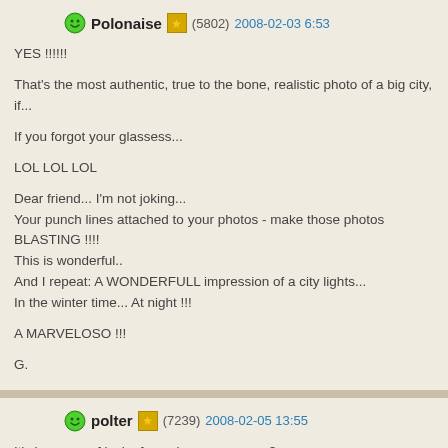Polonaise (5802) 2008-02-03 6:53
YES !!!!!!

That's the most authentic, true to the bone, realistic photo of a big city, if...

If you forgot your glassess...

LOL LOL LOL

Dear friend... I'm not joking...
Your punch lines attached to your photos - make those photos BLASTING !!!!
This is wonderful..
And I repeat: A WONDERFULL impression of a city lights...
In the winter time... At night !!!

A MARVELOSO !!!

G.
polter (7239) 2008-02-05 13:55
It's because of lack of eyeglasses you say ?
Well, I do understand why children kind of seeing the world like that (judging from perform) - so few of them wore eyeglasses :))
Like the photo - so simple and refreshing. So many of the beauty we omit thinki...